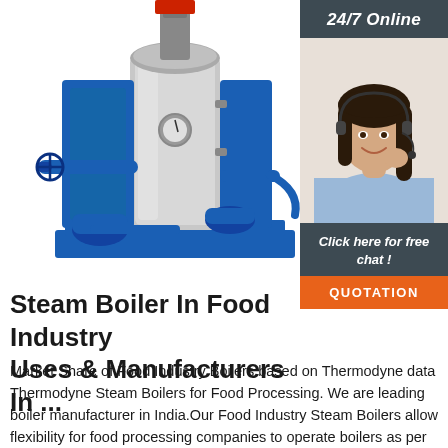[Figure (photo): Industrial steam boiler unit mounted on a blue base with pipes and fittings, photographed on white background]
[Figure (photo): Customer support representative (woman with headset) with '24/7 Online', 'Click here for free chat!', and 'QUOTATION' banner overlay on dark sidebar]
Steam Boiler In Food Industry Uses & Manufacturers In ...
Market Share of Food Industry Boilers based on Thermodyne data Thermodyne Steam Boilers for Food Processing. We are leading boiler manufacturer in India.Our Food Industry Steam Boilers allow flexibility for food processing companies to operate boilers as per their requirements and meet the steam requirement with